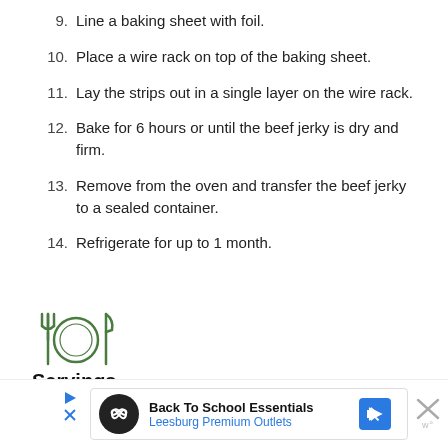9. Line a baking sheet with foil.
10. Place a wire rack on top of the baking sheet.
11. Lay the strips out in a single layer on the wire rack.
12. Bake for 6 hours or until the beef jerky is dry and firm.
13. Remove from the oven and transfer the beef jerky to a sealed container.
14. Refrigerate for up to 1 month.
[Figure (illustration): Fork, plate, and knife icon in green, representing a dining/recipe section]
Servings
[Figure (screenshot): Advertisement banner: Back To School Essentials - Leesburg Premium Outlets, with a blue navigation arrow icon and close button]